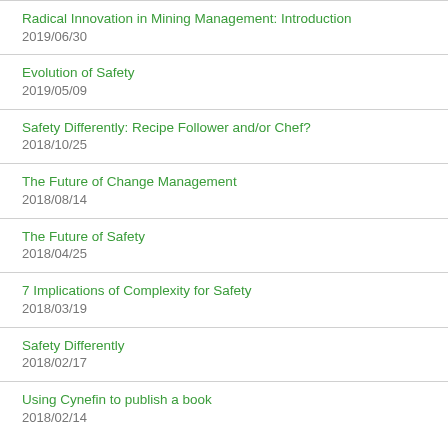Radical Innovation in Mining Management: Introduction
2019/06/30
Evolution of Safety
2019/05/09
Safety Differently: Recipe Follower and/or Chef?
2018/10/25
The Future of Change Management
2018/08/14
The Future of Safety
2018/04/25
7 Implications of Complexity for Safety
2018/03/19
Safety Differently
2018/02/17
Using Cynefin to publish a book
2018/02/14